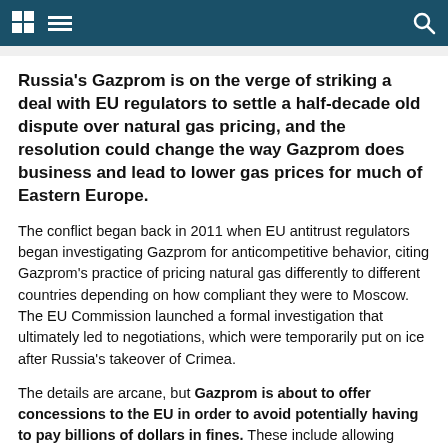[Navigation bar with grid icon, menu icon, and search icon]
Russia's Gazprom is on the verge of striking a deal with EU regulators to settle a half-decade old dispute over natural gas pricing, and the resolution could change the way Gazprom does business and lead to lower gas prices for much of Eastern Europe.
The conflict began back in 2011 when EU antitrust regulators began investigating Gazprom for anticompetitive behavior, citing Gazprom's practice of pricing natural gas differently to different countries depending on how compliant they were to Moscow. The EU Commission launched a formal investigation that ultimately led to negotiations, which were temporarily put on ice after Russia's takeover of Crimea.
The details are arcane, but Gazprom is about to offer concessions to the EU in order to avoid potentially having to pay billions of dollars in fines. These include allowing